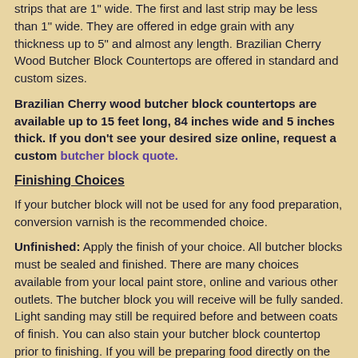strips that are 1" wide. The first and last strip may be less than 1" wide. They are offered in edge grain with any thickness up to 5" and almost any length. Brazilian Cherry Wood Butcher Block Countertops are offered in standard and custom sizes.
Brazilian Cherry wood butcher block countertops are available up to 15 feet long, 84 inches wide and 5 inches thick. If you don't see your desired size online, request a custom butcher block quote.
Finishing Choices
If your butcher block will not be used for any food preparation, conversion varnish is the recommended choice.
Unfinished: Apply the finish of your choice. All butcher blocks must be sealed and finished. There are many choices available from your local paint store, online and various other outlets. The butcher block you will receive will be fully sanded. Light sanding may still be required before and between coats of finish. You can also stain your butcher block countertop prior to finishing. If you will be preparing food directly on the block, please check the label or with the finish manufacturer to determine if it is food safe. Most stains are not food safe.
Mineral Oil: Two coats of a food safe mineral oil are applied to all surfaces. After you receive your butcher block, you should apply one coat of mineral oil to the top surface daily for one week, and monthly thereafter. You should also apply one coat of mineral oil to the sides, edges and any exposed areas underneath on this same schedule. Frequency of application can vary, but it is important to keep the butcher block well oiled. Food safe mineral oil is available at most drug stores. This is appropriate if the butcher block may be used for food.